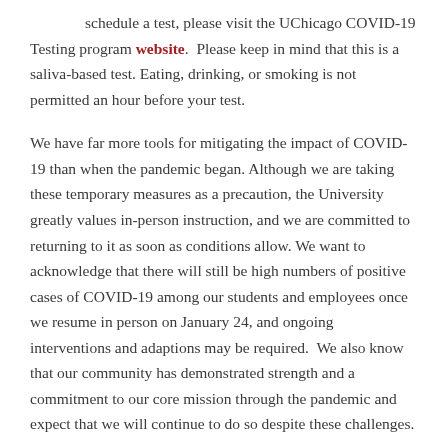schedule a test, please visit the UChicago COVID-19 Testing program website. Please keep in mind that this is a saliva-based test. Eating, drinking, or smoking is not permitted an hour before your test.
We have far more tools for mitigating the impact of COVID-19 than when the pandemic began. Although we are taking these temporary measures as a precaution, the University greatly values in-person instruction, and we are committed to returning to it as soon as conditions allow. We want to acknowledge that there will still be high numbers of positive cases of COVID-19 among our students and employees once we resume in person on January 24, and ongoing interventions and adaptions may be required. We also know that our community has demonstrated strength and a commitment to our core mission through the pandemic and expect that we will continue to do so despite these challenges.